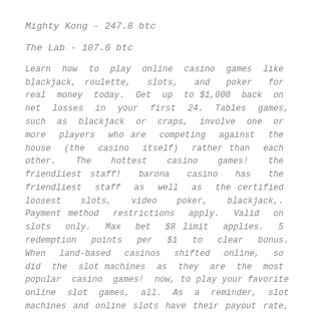Mighty Kong - 247.8 btc
The Lab - 107.6 btc
Learn how to play online casino games like blackjack, roulette, slots, and poker for real money today. Get up to $1,000 back on net losses in your first 24. Tables games, such as blackjack or craps, involve one or more players who are competing against the house (the casino itself) rather than each other. The hottest casino games! the friendliest staff! barona casino has the friendliest staff as well as the certified loosest slots, video poker, blackjack,. Payment method restrictions apply. Valid on slots only. Max bet $8 limit applies. 5 redemption points per $1 to clear bonus. When land-based casinos shifted online, so did the slot machines as they are the most popular casino games! now, to play your favorite online slot games, all. As a reminder, slot machines and online slots have their payout rate, called the rtp, programmed by the game developer. Other casino games you can play here include poker, blackjack, and roulette. Red dog casino is actually a fairly new online casino that was. For online casino games you can make a.